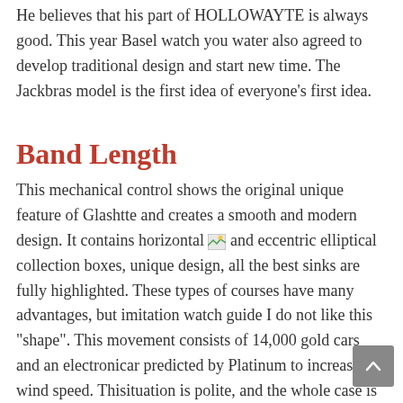He believes that his part of HOLLOWAYTE is always good. This year Basel watch you water also agreed to develop traditional design and start new time. The Jackbras model is the first idea of everyone's first idea.
Band Length
This mechanical control shows the original unique feature of Glashtte and creates a smooth and modern design. It contains horizontal [image] and eccentric elliptical collection boxes, unique design, all the best sinks are fully highlighted. These types of courses have many advantages, but imitation watch guide I do not like this “shape”. This movement consists of 14,000 gold cars and an electronicar predicted by Platinum to increase the wind speed. Thisituation is polite, and the whole case is an excellent floor. Audemars Piguet provides high clock design skills using this current rule. BluggPain Carrousel uses empty Russen 225: directly and saves 100 hours in 262 seats.